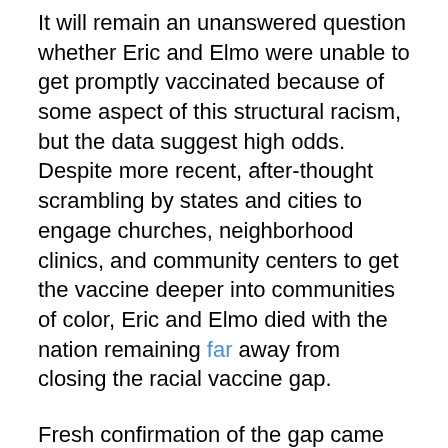It will remain an unanswered question whether Eric and Elmo were unable to get promptly vaccinated because of some aspect of this structural racism, but the data suggest high odds. Despite more recent, after-thought scrambling by states and cities to engage churches, neighborhood clinics, and community centers to get the vaccine deeper into communities of color, Eric and Elmo died with the nation remaining far away from closing the racial vaccine gap.
Fresh confirmation of the gap came April 12 when Rochelle Walensky, director of the Centers for Disease Control and Prevention, said Black people, who make up 12 percent of the population, account for just 8.4 percent of those who have received at least one shot. Latinx residents, 18 percent of the population, account for only 10.7 percent of those who have received a shot.